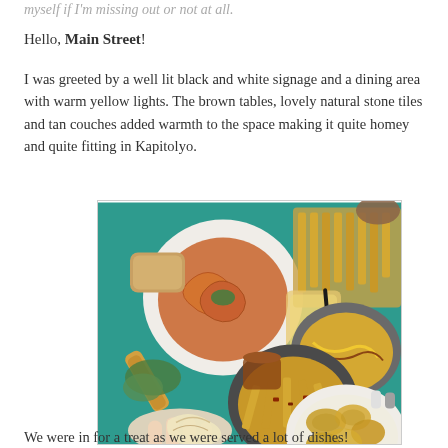myself if I'm missing out or not at all.
Hello, Main Street!
I was greeted by a well lit black and white signage and a dining area with warm yellow lights. The brown tables, lovely natural stone tiles and tan couches added warmth to the space making it quite homey and quite fitting in Kapitolyo.
[Figure (photo): Overhead view of a table full of food dishes including pasta, fries, loaded fries, spring rolls, spaghetti, and fried chicken on a teal tablecloth, with hands reaching in.]
We were in for a treat as we were served a lot of dishes!